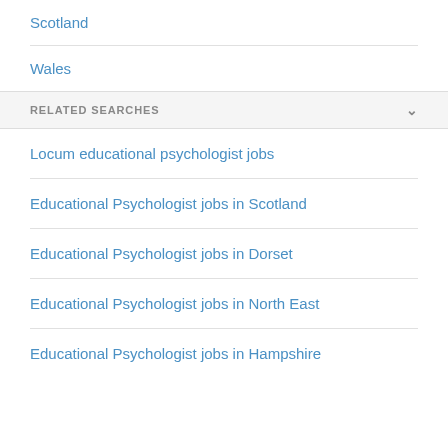Scotland
Wales
RELATED SEARCHES
Locum educational psychologist jobs
Educational Psychologist jobs in Scotland
Educational Psychologist jobs in Dorset
Educational Psychologist jobs in North East
Educational Psychologist jobs in Hampshire